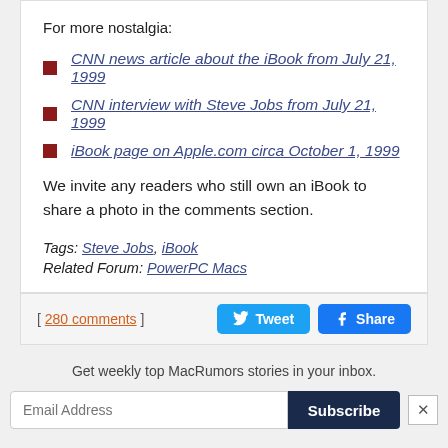For more nostalgia:
CNN news article about the iBook from July 21, 1999
CNN interview with Steve Jobs from July 21, 1999
iBook page on Apple.com circa October 1, 1999
We invite any readers who still own an iBook to share a photo in the comments section.
Tags: Steve Jobs, iBook
Related Forum: PowerPC Macs
[ 280 comments ]
Get weekly top MacRumors stories in your inbox.
Email Address
Subscribe
Top Rated Comments